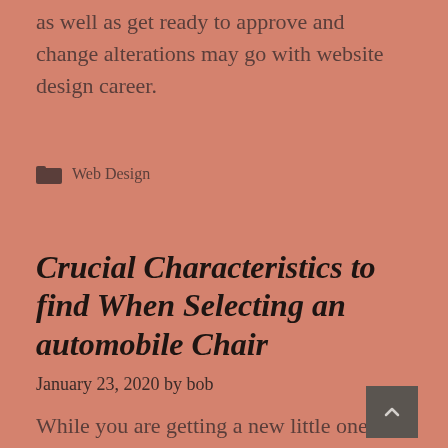as well as get ready to approve and change alterations may go with website design career.
Web Design
Crucial Characteristics to find When Selecting an automobile Chair
January 23, 2020 by bob
While you are getting a new little one chair for the new baby, you would like